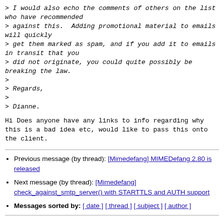> I would also echo the comments of others on the list who have recommended
> against this.  Adding promotional material to emails will quickly
> get them marked as spam, and if you add it to emails in transit that you
> did not originate, you could quite possibly be breaking the law.
>
> Regards,
>
> Dianne.
Hi

Does anyone have any links to info regarding why this is a bad idea etc,
would like to pass this onto the client.
Previous message (by thread): [Mimedefang] MIMEDefang 2.80 is released
Next message (by thread): [Mimedefang] check_against_smtp_server() with STARTTLS and AUTH support
Messages sorted by: [ date ] [ thread ] [ subject ] [ author ]